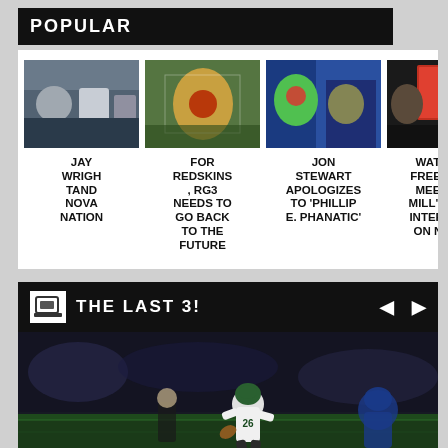POPULAR
[Figure (photo): Thumbnail photo for Jay Wright and Nova Nation article]
JAY WRIGHTAND NOVA NATION
[Figure (photo): Thumbnail photo for For Redskins, RG3 Needs to Go Back to the Future article]
FOR REDSKINS, RG3 NEEDS TO GO BACK TO THE FUTURE
[Figure (photo): Thumbnail photo for Jon Stewart Apologizes to 'Phillipe Phanatic' article]
JON STEWART APOLOGIZES TO 'PHILLIPE. PHANATIC'
[Figure (photo): Thumbnail photo for Watch: Free Meek Mill's 1 Interview on NB article]
WATCH FREE M MEEK MILL'S 1 INTERVI ON NB
THE LAST 3!
[Figure (photo): Philadelphia Eagles running back #26 running with the ball in a night game against the New York Giants]